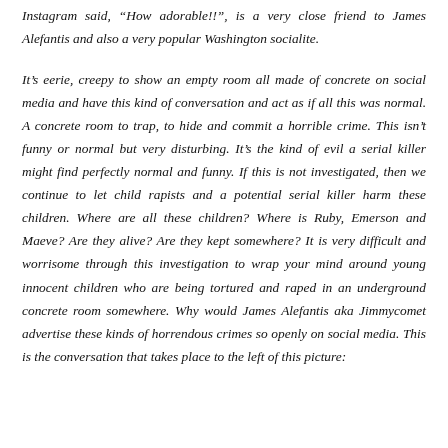Instagram said, "How adorable!!", is a very close friend to James Alefantis and also a very popular Washington socialite.
It's eerie, creepy to show an empty room all made of concrete on social media and have this kind of conversation and act as if all this was normal. A concrete room to trap, to hide and commit a horrible crime. This isn't funny or normal but very disturbing. It's the kind of evil a serial killer might find perfectly normal and funny. If this is not investigated, then we continue to let child rapists and a potential serial killer harm these children. Where are all these children? Where is Ruby, Emerson and Maeve? Are they alive? Are they kept somewhere? It is very difficult and worrisome through this investigation to wrap your mind around young innocent children who are being tortured and raped in an underground concrete room somewhere. Why would James Alefantis aka Jimmycomet advertise these kinds of horrendous crimes so openly on social media. This is the conversation that takes place to the left of this picture: